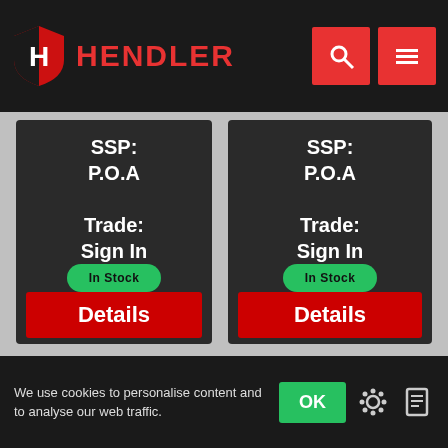HENDLER
SSP: P.O.A
Trade: Sign In
In Stock
Details
SSP: P.O.A
Trade: Sign In
In Stock
Details
[Figure (screenshot): Product image placeholder with cookie icon overlay]
[Figure (screenshot): Product image with 'Sorry, this image is' overlay text on a shield-shaped graphic]
We use cookies to personalise content and to analyse our web traffic.
OK